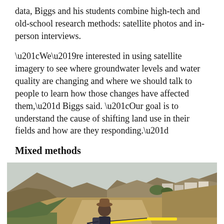data, Biggs and his students combine high-tech and old-school research methods: satellite photos and in-person interviews.
“We’re interested in using satellite imagery to see where groundwater levels and water quality are changing and where we should talk to people to learn how those changes have affected them,” Biggs said. “Our goal is to understand the cause of shifting land use in their fields and how are they responding.”
Mixed methods
[Figure (photo): A person wearing a hat and backpack holds a yellow measuring tape across a dirt construction/excavation site with hills and buildings visible in the background.]